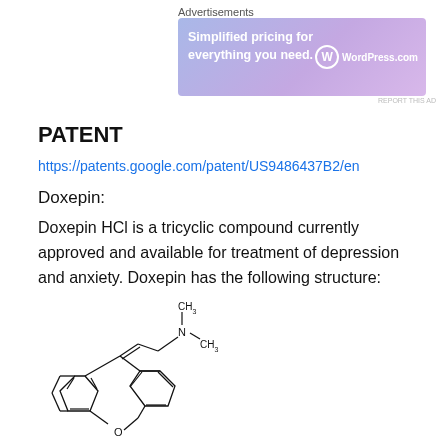[Figure (other): WordPress.com advertisement banner: 'Simplified pricing for everything you need.' with WordPress logo]
PATENT
https://patents.google.com/patent/US9486437B2/en
Doxepin:
Doxepin HCl is a tricyclic compound currently approved and available for treatment of depression and anxiety. Doxepin has the following structure:
[Figure (engineering-diagram): Chemical structure diagram of Doxepin showing tricyclic ring system with an oxygen bridge, and a dimethylaminopropyl side chain with CH3 groups on nitrogen. Labels: CH3, N, CH3, O.]